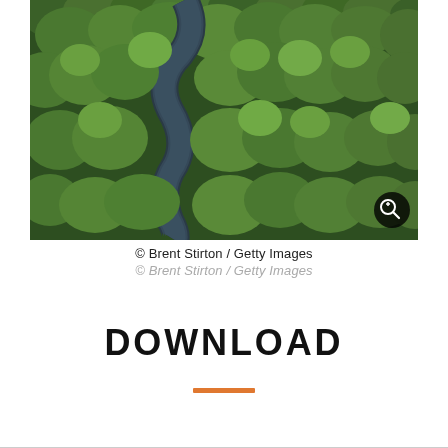[Figure (photo): Aerial view of a winding river through dense green mangrove/jungle forest, photographed from above showing the S-shaped river curves through lush tropical canopy.]
© Brent Stirton / Getty Images
© Brent Stirton / Getty Images
DOWNLOAD